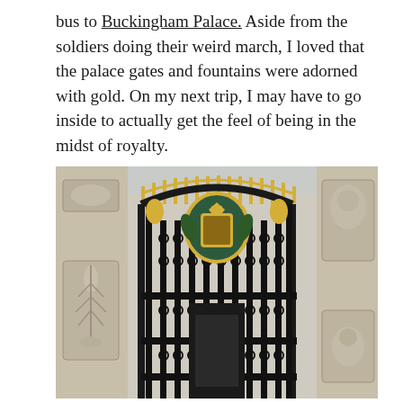bus to Buckingham Palace. Aside from the soldiers doing their weird march, I loved that the palace gates and fountains were adorned with gold. On my next trip, I may have to go inside to actually get the feel of being in the midst of royalty.
[Figure (photo): Close-up photograph of the ornate black iron gates of Buckingham Palace, featuring a large golden royal crest/emblem in the center of the gate arch, with decorative gold leaf ornamentation along the top. Stone pillars with carved relief sculptures are visible on either side.]